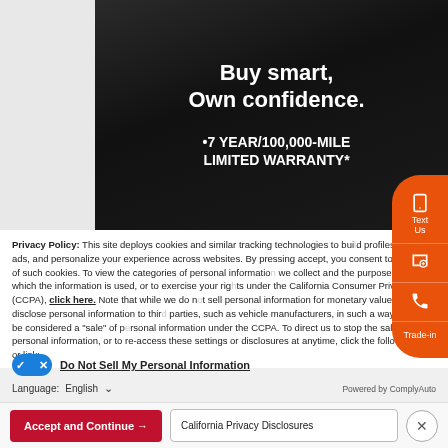[Figure (photo): Dark automotive banner image with white text 'Buy smart, Own confidence.' and '*7 YEAR/100,000-MILE LIMITED WARRANTY*']
Privacy Policy: This site deploys cookies and similar tracking technologies to build profiles, serve ads, and personalize your experience across websites. By pressing accept, you consent to the use of such cookies. To view the categories of personal information we collect and the purposes for which the information is used, or to exercise your rights under the California Consumer Privacy Act (CCPA), click here. Note that while we do not sell personal information for monetary value, we disclose personal information to third parties, such as vehicle manufacturers, in such a way that may be considered a "sale" of personal information under the CCPA. To direct us to stop the sale of your personal information, or to re-access these settings or disclosures at anytime, click the following icon or link:
Do Not Sell My Personal Information
Language: English
Powered by ComplyAuto
Accept and Continue →
California Privacy Disclosures